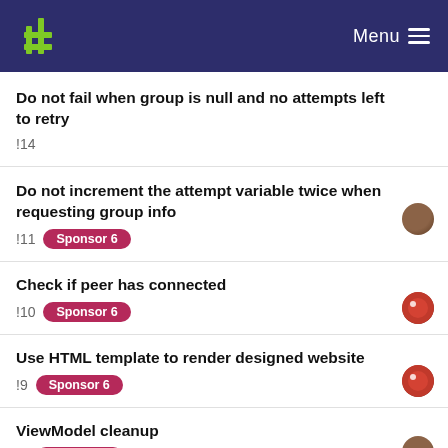Menu
Do not fail when group is null and no attempts left to retry
!14
Do not increment the attempt variable twice when requesting group info
!11 Sponsor 6
Check if peer has connected
!10 Sponsor 6
Use HTML template to render designed website
!9 Sponsor 6
ViewModel cleanup
!6 Sponsor 6
Ensure that conditions are fulfilled when pressing START button
Sponsored 6